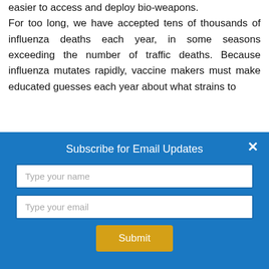easier to access and deploy bio-weapons.
For too long, we have accepted tens of thousands of influenza deaths each year, in some seasons exceeding the number of traffic deaths. Because influenza mutates rapidly, vaccine makers must make educated guesses each year about what strains to
[Figure (screenshot): Modal dialog box with blue background containing 'Subscribe for Email Updates' title, a 'Type your name' text input, a 'Type your email' text input, a yellow 'Submit' button, and a white X close button in the top right corner.]